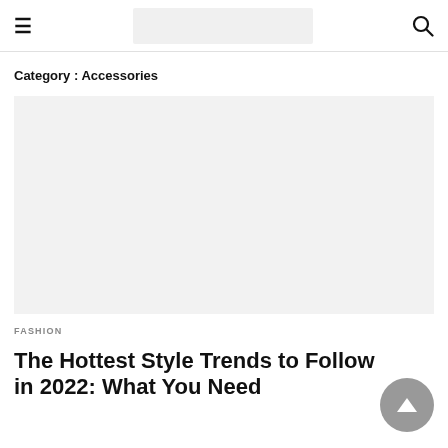≡ [logo] 🔍
Category : Accessories
[Figure (photo): Large light gray image placeholder for article thumbnail]
FASHION
The Hottest Style Trends to Follow in 2022: What You Need